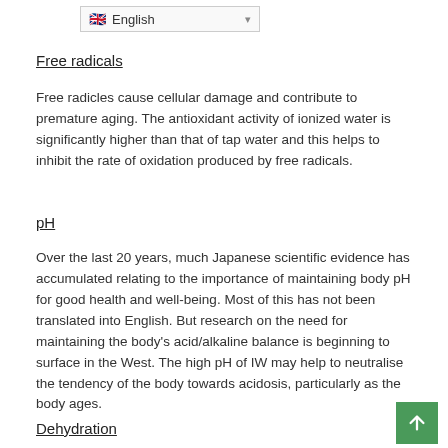English (language selector)
Free radicals
Free radicles cause cellular damage and contribute to premature aging. The antioxidant activity of ionized water is significantly higher than that of tap water and this helps to inhibit the rate of oxidation produced by free radicals.
pH
Over the last 20 years, much Japanese scientific evidence has accumulated relating to the importance of maintaining body pH for good health and well-being. Most of this has not been translated into English. But research on the need for maintaining the body's acid/alkaline balance is beginning to surface in the West. The high pH of IW may help to neutralise the tendency of the body towards acidosis, particularly as the body ages.
Dehydration